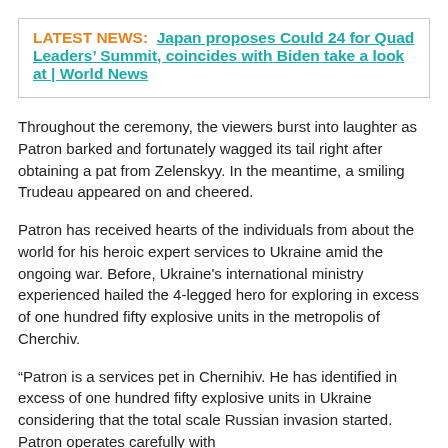LATEST NEWS: Japan proposes Could 24 for Quad Leaders' Summit, coincides with Biden take a look at | World News
Throughout the ceremony, the viewers burst into laughter as Patron barked and fortunately wagged its tail right after obtaining a pat from Zelenskyy. In the meantime, a smiling Trudeau appeared on and cheered.
Patron has received hearts of the individuals from about the world for his heroic expert services to Ukraine amid the ongoing war. Before, Ukraine's international ministry experienced hailed the 4-legged hero for exploring in excess of one hundred fifty explosive units in the metropolis of Cherchiv.
“Patron is a services pet in Chernihiv. He has identified in excess of one hundred fifty explosive units in Ukraine considering that the total scale Russian invasion started. Patron operates carefully with